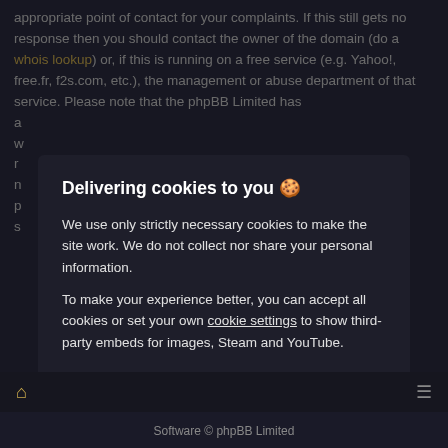appropriate point of contact for your complaints. If this still gets no response then you should contact the owner of the domain (do a whois lookup) or, if this is running on a free service (e.g. Yahoo!, free.fr, f2s.com, etc.), the management or abuse department of that service. Please note that the phpBB Limited has a ...
Delivering cookies to you 🍪
We use only strictly necessary cookies to make the site work. We do not collect nor share your personal information.
To make your experience better, you can accept all cookies or set your own cookie settings to show third-party embeds for images, Steam and YouTube.
Privacy policy
Accept all
Reject optional
Software © phpBB Limited